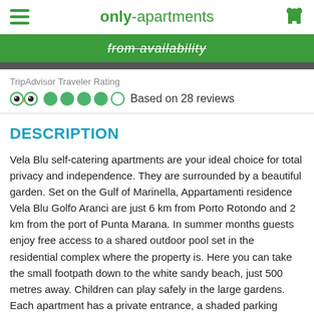only-apartments
[Figure (screenshot): Green bar with partially visible italic strikethrough text, likely a promotional button]
TripAdvisor Traveler Rating
[Figure (infographic): TripAdvisor owl logo with 4 filled green circles and 1 empty circle rating, Based on 28 reviews]
DESCRIPTION
Vela Blu self-catering apartments are your ideal choice for total privacy and independence. They are surrounded by a beautiful garden. Set on the Gulf of Marinella, Appartamenti residence Vela Blu Golfo Aranci are just 6 km from Porto Rotondo and 2 km from the port of Punta Marana. In summer months guests enjoy free access to a shared outdoor pool set in the residential complex where the property is. Here you can take the small footpath down to the white sandy beach, just 500 metres away. Children can play safely in the large gardens. Each apartment has a private entrance, a shaded parking place, a fully equipped kitchenette with washing machine, and either a terrace or patio for al fresco dining.